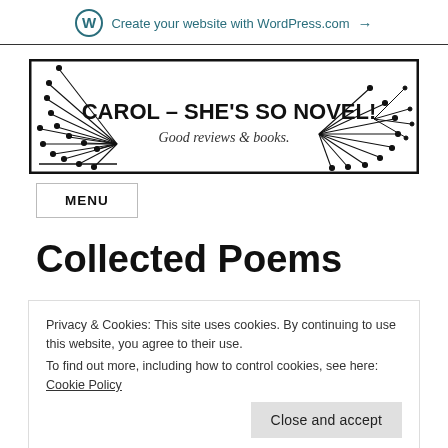Create your website with WordPress.com →
[Figure (logo): Carol - She's So Novel! Good reviews & books. Banner logo with decorative dandelion/firework line art on left and right sides.]
MENU
Collected Poems
Privacy & Cookies: This site uses cookies. By continuing to use this website, you agree to their use.
To find out more, including how to control cookies, see here:
Cookie Policy
Close and accept
NB: This review will make it obvious however